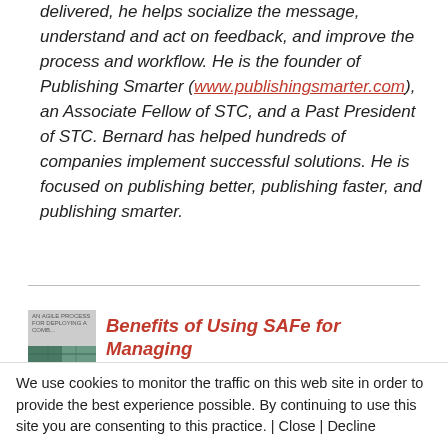delivered, he helps socialize the message, understand and act on feedback, and improve the process and workflow. He is the founder of Publishing Smarter (www.publishingsmarter.com), an Associate Fellow of STC, and a Past President of STC. Bernard has helped hundreds of companies implement successful solutions. He is focused on publishing better, publishing faster, and publishing smarter.
[Figure (other): Thumbnail image of book cover for next article about Benefits of Using SAFe for Managing]
Benefits of Using SAFe for Managing
We use cookies to monitor the traffic on this web site in order to provide the best experience possible. By continuing to use this site you are consenting to this practice. | Close | Decline